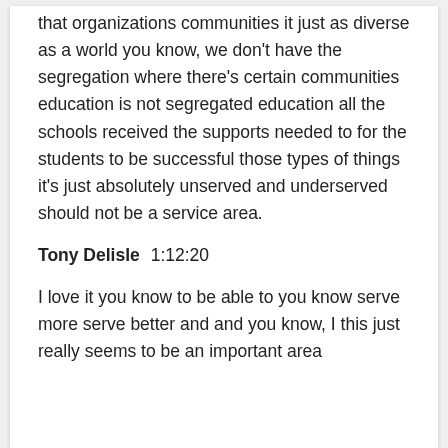that organizations communities it just as diverse as a world you know, we don't have the segregation where there's certain communities education is not segregated education all the schools received the supports needed to for the students to be successful those types of things it's just absolutely unserved and underserved should not be a service area.
Tony Delisle  1:12:20
I love it you know to be able to you know serve more serve better and and you know, I this just really seems to be an important area